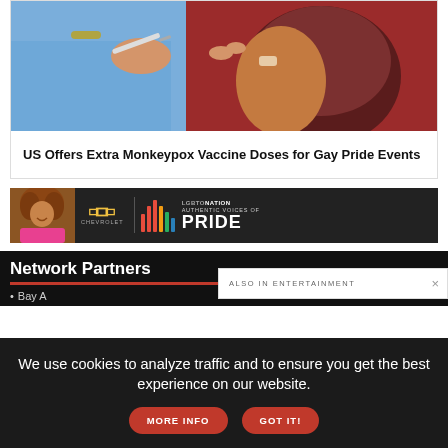[Figure (photo): Photo of a vaccination being administered — a person wearing blue pants and gold bracelet giving an injection to a person in a dark red/maroon shirt]
US Offers Extra Monkeypox Vaccine Doses for Gay Pride Events
[Figure (other): Advertisement banner: Chevrolet logo with LGBTONATION Authentic Voices of Pride branding featuring colorful audio-wave bars and a person with curly hair in a pink top]
Network Partners
ALSO IN ENTERTAINMENT
Bay A
We use cookies to analyze traffic and to ensure you get the best experience on our website.
MORE INFO
GOT IT!